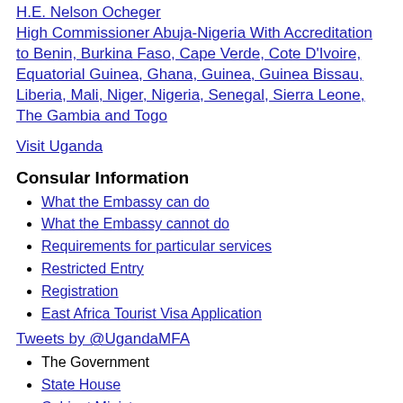H.E. Nelson Ocheger
High Commissioner Abuja-Nigeria With Accreditation to Benin, Burkina Faso, Cape Verde, Cote D'Ivoire, Equatorial Guinea, Ghana, Guinea, Guinea Bissau, Liberia, Mali, Niger, Nigeria, Senegal, Sierra Leone, The Gambia and Togo
Visit Uganda
Consular Information
What the Embassy can do
What the Embassy cannot do
Requirements for particular services
Restricted Entry
Registration
East Africa Tourist Visa Application
Tweets by @UgandaMFA
The Government
State House
Cabinet Ministers